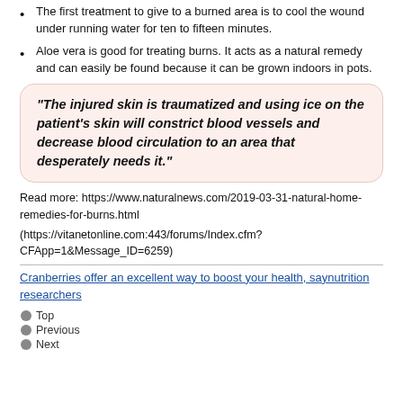The first treatment to give to a burned area is to cool the wound under running water for ten to fifteen minutes.
Aloe vera is good for treating burns. It acts as a natural remedy and can easily be found because it can be grown indoors in pots.
"The injured skin is traumatized and using ice on the patient's skin will constrict blood vessels and decrease blood circulation to an area that desperately needs it."
Read more: https://www.naturalnews.com/2019-03-31-natural-home-remedies-for-burns.html
(https://vitanetonline.com:443/forums/Index.cfm?CFApp=1&Message_ID=6259)
Cranberries offer an excellent way to boost your health, saynutrition researchers
Top
Previous
Next